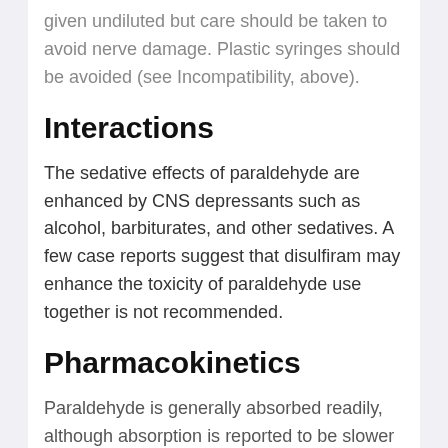given undiluted but care should be taken to avoid nerve damage. Plastic syringes should be avoided (see Incompatibility, above).
Interactions
The sedative effects of paraldehyde are enhanced by CNS depressants such as alcohol, barbiturates, and other sedatives. A few case reports suggest that disulfiram may enhance the toxicity of paraldehyde use together is not recommended.
Pharmacokinetics
Paraldehyde is generally absorbed readily, although absorption is reported to be slower after rectal than after oral or intramuscular